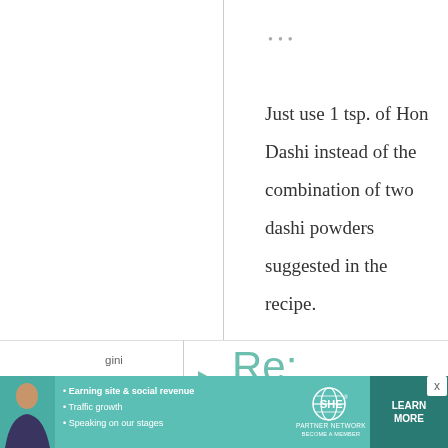•••
Just use 1 tsp. of Hon Dashi instead of the combination of two dashi powders suggested in the recipe.
gini
30
January, 2011 -
05:56
Re: Takoyaki, the great
[Figure (infographic): SHE Partner Network advertisement banner with woman photo, bullet points about earning site & social revenue, traffic growth, speaking on stages, SHE logo, and Learn More button]